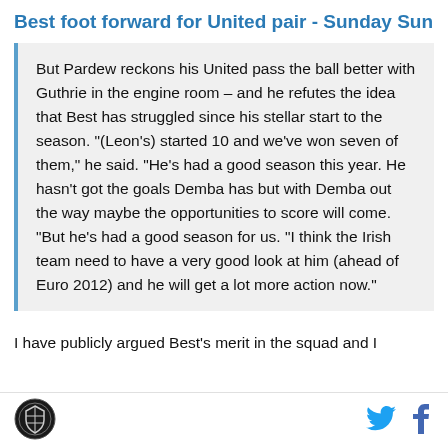Best foot forward for United pair - Sunday Sun
But Pardew reckons his United pass the ball better with Guthrie in the engine room – and he refutes the idea that Best has struggled since his stellar start to the season. "(Leon's) started 10 and we've won seven of them," he said. "He's had a good season this year. He hasn't got the goals Demba has but with Demba out the way maybe the opportunities to score will come. "But he's had a good season for us. "I think the Irish team need to have a very good look at him (ahead of Euro 2012) and he will get a lot more action now."
I have publicly argued Best's merit in the squad and I
[Figure (logo): Circular black and white club crest logo]
[Figure (logo): Twitter bird icon in blue]
[Figure (logo): Facebook f icon in blue]